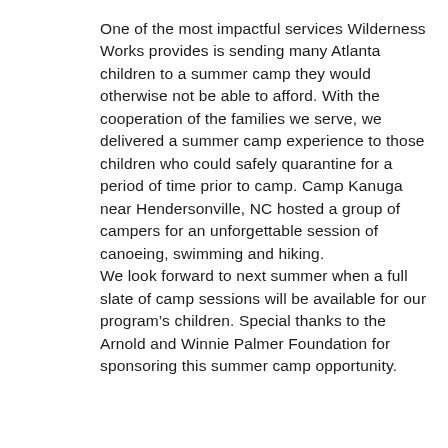One of the most impactful services Wilderness Works provides is sending many Atlanta children to a summer camp they would otherwise not be able to afford. With the cooperation of the families we serve, we delivered a summer camp experience to those children who could safely quarantine for a period of time prior to camp. Camp Kanuga near Hendersonville, NC hosted a group of campers for an unforgettable session of canoeing, swimming and hiking. We look forward to next summer when a full slate of camp sessions will be available for our program’s children. Special thanks to the Arnold and Winnie Palmer Foundation for sponsoring this summer camp opportunity.